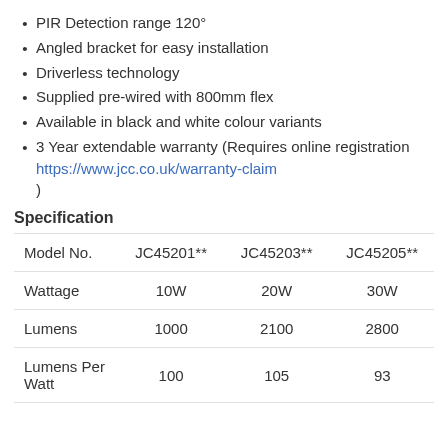PIR Detection range 120°
Angled bracket for easy installation
Driverless technology
Supplied pre-wired with 800mm flex
Available in black and white colour variants
3 Year extendable warranty (Requires online registration https://www.jcc.co.uk/warranty-claim )
Specification
| Model No. | JC45201** | JC45203** | JC45205** |
| --- | --- | --- | --- |
| Wattage | 10W | 20W | 30W |
| Lumens | 1000 | 2100 | 2800 |
| Lumens Per Watt | 100 | 105 | 93 |